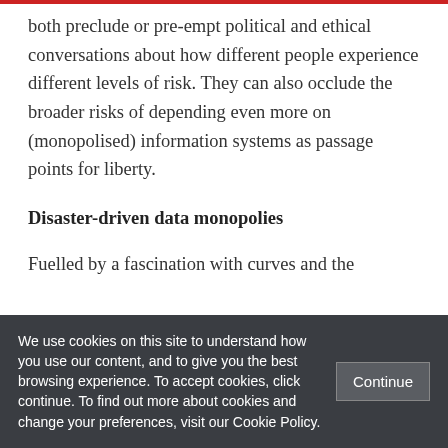both preclude or pre-empt political and ethical conversations about how different people experience different levels of risk. They can also occlude the broader risks of depending even more on (monopolised) information systems as passage points for liberty.
Disaster-driven data monopolies
Fuelled by a fascination with curves and the
We use cookies on this site to understand how you use our content, and to give you the best browsing experience. To accept cookies, click continue. To find out more about cookies and change your preferences, visit our Cookie Policy.